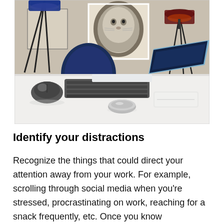[Figure (photo): A home office desk scene with a white desk, black ergonomic mouse, keyboard, a laptop open to the right, a small round metallic object, a white rectangular device, a blue chair in the background, a black tripod floor lamp with blue shade on the left, a table lamp with dark red shade on the right, and a black-and-white lion portrait print on the wall.]
Identify your distractions
Recognize the things that could direct your attention away from your work. For example, scrolling through social media when you’re stressed, procrastinating on work, reaching for a snack frequently, etc. Once you know